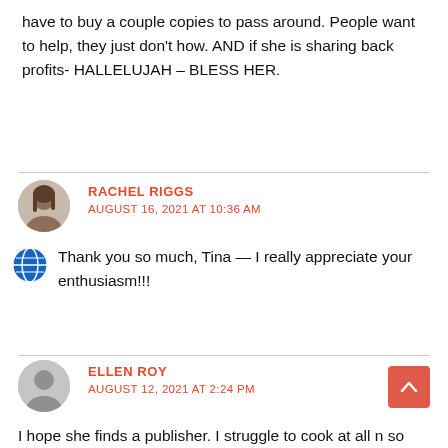have to buy a couple copies to pass around. People want to help, they just don't how. AND if she is sharing back profits- HALLELUJAH – BLESS HER.
RACHEL RIGGS
AUGUST 16, 2021 AT 10:36 AM
Thank you so much, Tina — I really appreciate your enthusiasm!!!
ELLEN ROY
AUGUST 12, 2021 AT 2:24 PM
I hope she finds a publisher. I struggle to cook at all n so